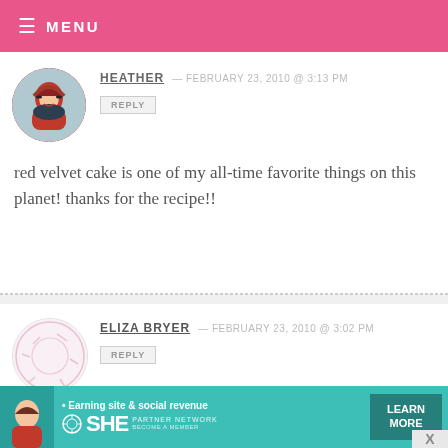MENU
HEATHER — FEBRUARY 23, 2010 @ 3:13 PM
REPLY
red velvet cake is one of my all-time favorite things on this planet! thanks for the recipe!!
ELIZA BRYER — FEBRUARY 23, 2010 @ 3:02 PM
REPLY
Yummmmmy! The pictures are scruptious. Can't wait to try the recipe. A friend made a red velvet cake once
[Figure (other): Advertisement banner: Earning site & social revenue, SHE Partner Network, Become a Member, Learn More button]